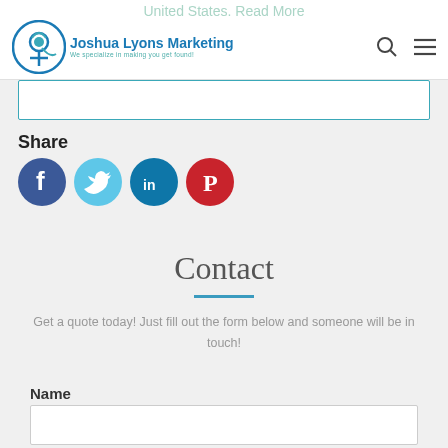[Figure (logo): Joshua Lyons Marketing logo with circular icon and text 'We specialize in making you get found!']
Share
[Figure (infographic): Social media share buttons: Facebook (blue), Twitter (light blue), LinkedIn (dark blue), Pinterest (red)]
Contact
Get a quote today! Just fill out the form below and someone will be in touch!
Name
[Figure (screenshot): Empty text input field for Name]